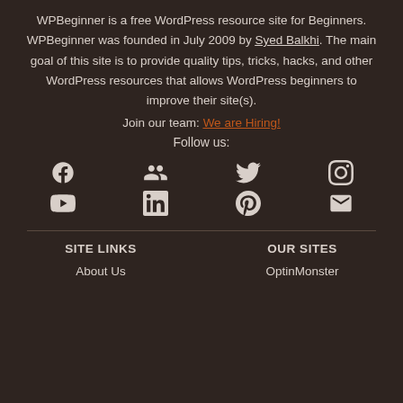WPBeginner is a free WordPress resource site for Beginners. WPBeginner was founded in July 2009 by Syed Balkhi. The main goal of this site is to provide quality tips, tricks, hacks, and other WordPress resources that allows WordPress beginners to improve their site(s).
Join our team: We are Hiring!
Follow us:
[Figure (infographic): Social media icons: Facebook, Groups/Friends, Twitter, Instagram (top row); YouTube, LinkedIn, Pinterest, Email (bottom row)]
SITE LINKS
OUR SITES
About Us
OptinMonster